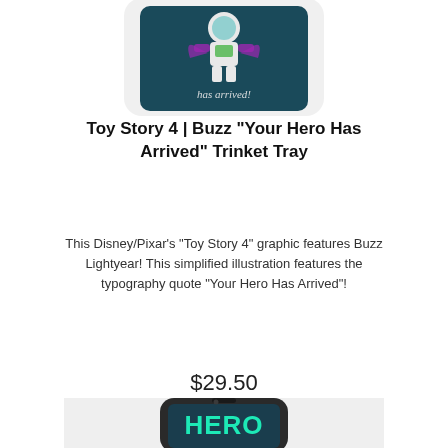[Figure (photo): Top portion of a Toy Story 4 Buzz Lightyear trinket tray product image on a white rounded-rectangle background. Shows Buzz Lightyear illustration with 'has arrived!' text on a dark teal background.]
Toy Story 4 | Buzz "Your Hero Has Arrived" Trinket Tray
This Disney/Pixar's "Toy Story 4" graphic features Buzz Lightyear! This simplified illustration features the typography quote "Your Hero Has Arrived"!
$29.50
[Figure (photo): Bottom portion of a phone case product image showing a black smartphone case on a light gray rounded-rectangle background. The case has a dark teal background with large teal 'HERO' text and Buzz Lightyear illustration, with 'has arrived!' text at the bottom.]